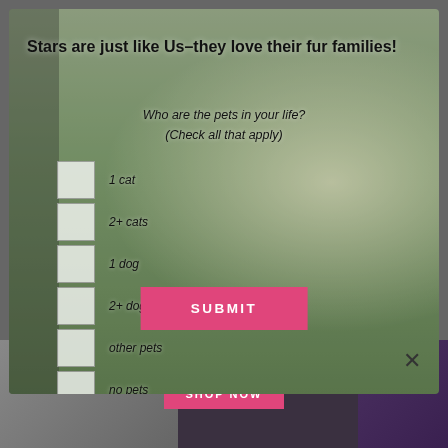[Figure (screenshot): Modal popup overlay on a webpage showing a woman sitting outdoors on grass hugging a large dark dog, with trees in background. Modal contains a survey question about pet ownership with checkboxes.]
Stars are just like Us–they love their fur families!
Who are the pets in your life?
(Check all that apply)
1 cat
2+ cats
1 dog
2+ dogs
other pets
no pets
SUBMIT
SHOP NOW